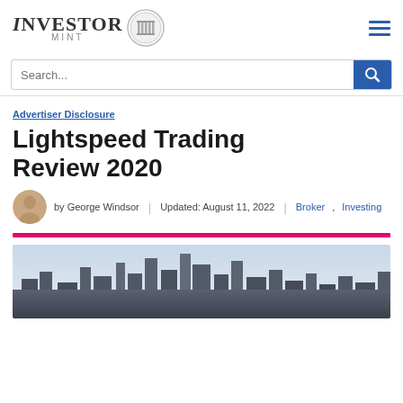INVESTOR MINT
Search...
Advertiser Disclosure
Lightspeed Trading Review 2020
by George Windsor | Updated: August 11, 2022 | Broker, Investing
[Figure (photo): Aerial panoramic photo of New York City skyline showing Manhattan skyscrapers and urban landscape]